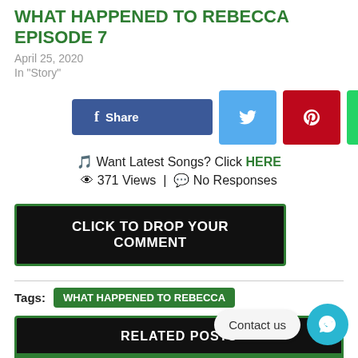WHAT HAPPENED TO REBECCA EPISODE 7
April 25, 2020
In "Story"
[Figure (screenshot): Social share buttons: Facebook Share (blue), Twitter (light blue), Pinterest (red), WhatsApp (green), Share (lime green)]
🎵 Want Latest Songs? Click HERE
👁 371 Views | 💬 No Responses
CLICK TO DROP YOUR COMMENT
Tags: WHAT HAPPENED TO REBECCA
RELATED POSTS
Contact us